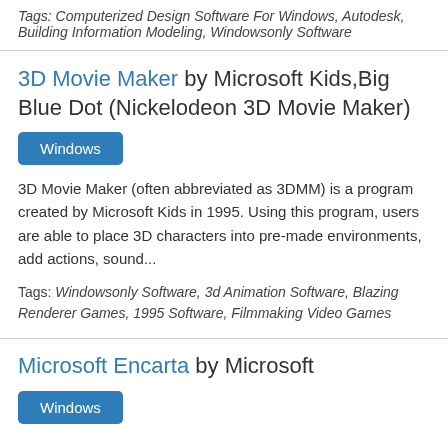Tags: Computerized Design Software For Windows, Autodesk, Building Information Modeling, Windowsonly Software
3D Movie Maker by Microsoft Kids, Big Blue Dot (Nickelodeon 3D Movie Maker)
Windows
3D Movie Maker (often abbreviated as 3DMM) is a program created by Microsoft Kids in 1995. Using this program, users are able to place 3D characters into pre-made environments, add actions, sound...
Tags: Windowsonly Software, 3d Animation Software, Blazing Renderer Games, 1995 Software, Filmmaking Video Games
Microsoft Encarta by Microsoft
Windows